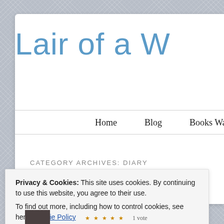Lair of a W
Home   Blog   Books Wanted
CATEGORY ARCHIVES: DIARY
Privacy & Cookies: This site uses cookies. By continuing to use this website, you agree to their use.
To find out more, including how to control cookies, see here: Cookie Policy
Close and accept